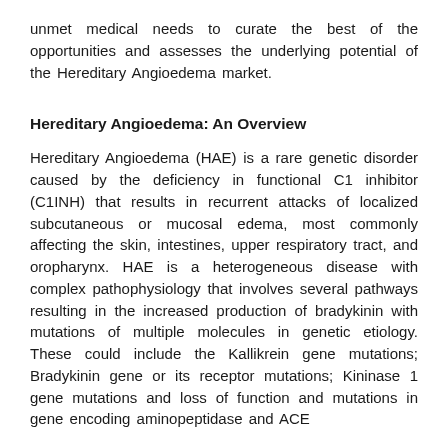unmet medical needs to curate the best of the opportunities and assesses the underlying potential of the Hereditary Angioedema market.
Hereditary Angioedema: An Overview
Hereditary Angioedema (HAE) is a rare genetic disorder caused by the deficiency in functional C1 inhibitor (C1INH) that results in recurrent attacks of localized subcutaneous or mucosal edema, most commonly affecting the skin, intestines, upper respiratory tract, and oropharynx. HAE is a heterogeneous disease with complex pathophysiology that involves several pathways resulting in the increased production of bradykinin with mutations of multiple molecules in genetic etiology. These could include the Kallikrein gene mutations; Bradykinin gene or its receptor mutations; Kininase 1 gene mutations and loss of function and mutations in gene encoding aminopeptidase and ACE